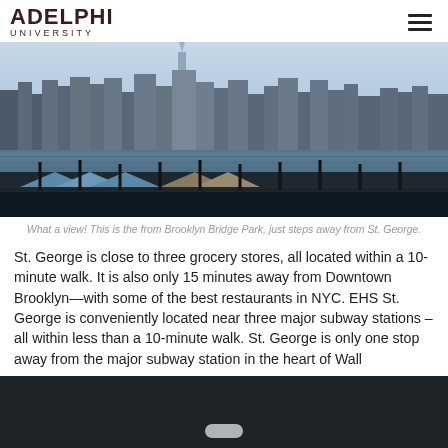ADELPHI UNIVERSITY
[Figure (photo): Panoramic view of the New York City skyline from Brooklyn Bridge Park, showing skyscrapers including One World Trade Center, waterfront with docked boats, and a foreground of covered structures and iron fence.]
What a view! This is the from Brooklyn Bridge Park, just steps away from St. George.
St. George is close to three grocery stores, all located within a 10-minute walk. It is also only 15 minutes away from Downtown Brooklyn—with some of the best restaurants in NYC. EHS St. George is conveniently located near three major subway stations – all within less than a 10-minute walk. St. George is only one stop away from the major subway station in the heart of Wall